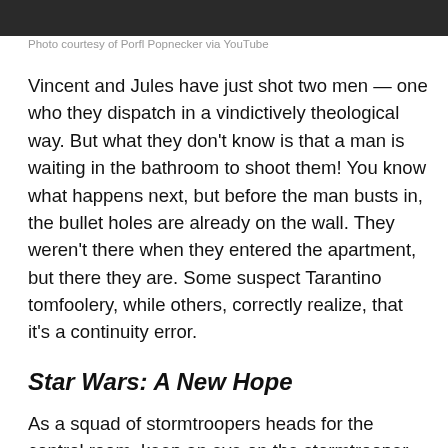[Figure (photo): Dark photo bar at top of page]
Photo courtesy of Porfl Popnecker via YouTube
Vincent and Jules have just shot two men — one who they dispatch in a vindictively theological way. But what they don't know is that a man is waiting in the bathroom to shoot them! You know what happens next, but before the man busts in, the bullet holes are already on the wall. They weren't there when they entered the apartment, but there they are. Some suspect Tarantino tomfoolery, while others, correctly realize, that it's a continuity error.
Star Wars: A New Hope
As a squad of stormtroopers heads for the control room, keep an eye on the stormtrooper to the